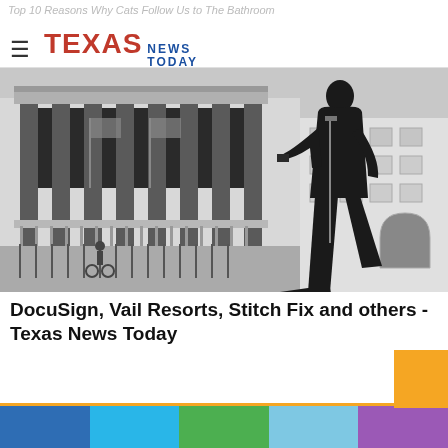Top 10 Reasons Why Cats Follow Us to The Bathroom
[Figure (logo): Texas News Today logo with hamburger menu icon]
[Figure (photo): Black and white photo of New York Stock Exchange exterior with American flags and a silhouette of a man walking in foreground]
DocuSign, Vail Resorts, Stitch Fix and others - Texas News Today
[Figure (infographic): Five colored horizontal bars at page bottom: dark blue, light blue, green, light blue, purple; with orange square accent]